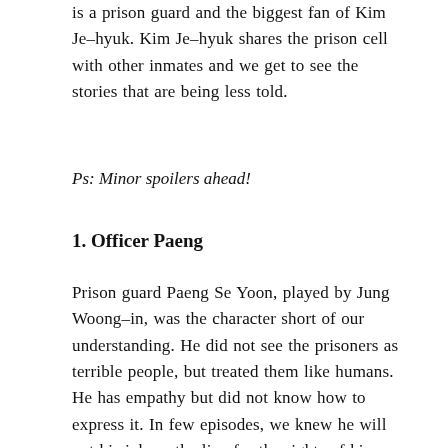is a prison guard and the biggest fan of Kim Je-hyuk. Kim Je-hyuk shares the prison cell with other inmates and we get to see the stories that are being less told.
Ps: Minor spoilers ahead!
1. Officer Paeng
Prison guard Paeng Se Yoon, played by Jung Woong-in, was the character short of our understanding. He did not see the prisoners as terrible people, but treated them like humans. He has empathy but did not know how to express it. In few episodes, we knew he will put his job on the line for the rights of his ward prisoners and will even go against the higher officials to stand by their rights. Bringing them food, staying in the hospital with sick prisoners and